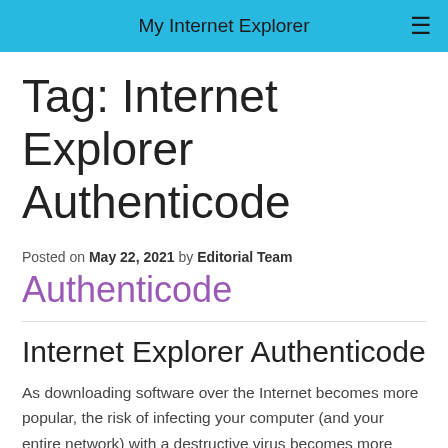My Internet Explorer
Tag: Internet Explorer Authenticode
Posted on May 22, 2021 by Editorial Team
Authenticode
Internet Explorer Authenticode
As downloading software over the Internet becomes more popular, the risk of infecting your computer (and your entire network) with a destructive virus becomes more real. Microsoft Internet Explorer now supports Authenticode technology. If you run...